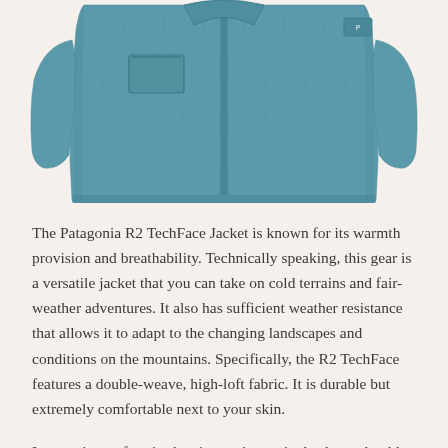[Figure (photo): Patagonia R2 TechFace Jacket in teal/blue color, shown folded/laid flat, viewed from front at an angle. The jacket has a full-length zipper down the center, a left chest pocket with zipper, and textured double-weave fleece fabric.]
The Patagonia R2 TechFace Jacket is known for its warmth provision and breathability. Technically speaking, this gear is a versatile jacket that you can take on cold terrains and fair-weather adventures. It also has sufficient weather resistance that allows it to adapt to the changing landscapes and conditions on the mountains. Specifically, the R2 TechFace features a double-weave, high-loft fabric. It is durable but extremely comfortable next to your skin.
Its exterior surface is abrasion-resistant; it also has a durable water repellent finish that enables it to defend you against the elements. Its two hand warmer pockets and left chest pocket have zipper garages. They are not only efficient in storing your gear, but they are also pack- and harness-compatible. Meanwhile, you can also find two drop-in mesh pockets on its interior. With its snag-